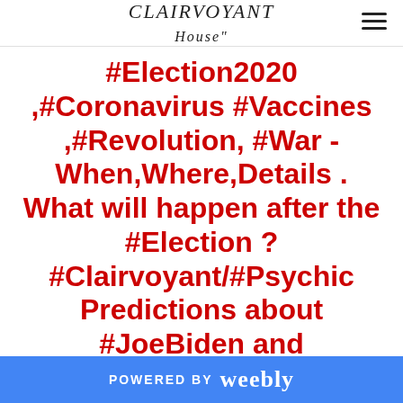CLAIRVOYANT HOUSE
#Election2020 ,#Coronavirus #Vaccines ,#Revolution, #War -When,Where,Details . What will happen after the #Election ? #Clairvoyant/#Psychic Predictions about #JoeBiden and #DonaldTrump – Who will really become a president? The World and USA year 2020 – 2033 , Coronavirus Vaccine
POWERED BY weebly